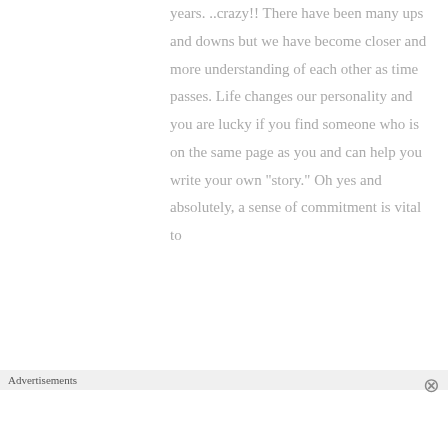years. ..crazy!! There have been many ups and downs but we have become closer and more understanding of each other as time passes. Life changes our personality and you are lucky if you find someone who is on the same page as you and can help you write your own "story." Oh yes and absolutely, a sense of commitment is vital to
Advertisements
[Figure (photo): Victoria's Secret advertisement banner with a model, Victoria's Secret logo, 'Shop the Collection' text, and a 'Shop Now' button on a pink background.]